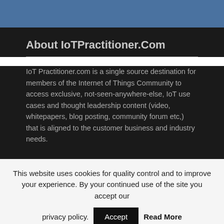[Figure (other): Blue decorative header bar]
About IoTPractitioner.Com
IoT Practitioner.com is a single source destination for members of the Internet of Things Community to access exclusive, not-seen-anywhere-else, IoT use cases and thought leadership content (video, whitepapers, blog posting, community forum etc,) that is aligned to the customer business and industry needs.
This website uses cookies for quality control and to improve your experience. By your continued use of the site you accept our privacy policy. Accept Read More